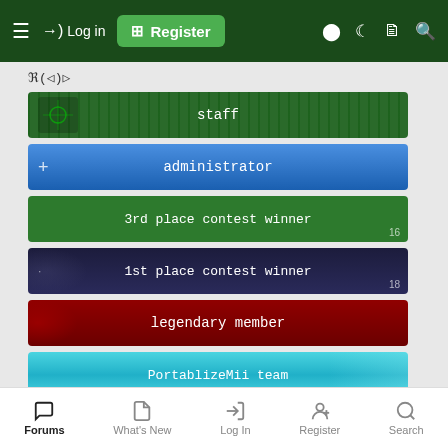Log in | Register
ℜ(◁)▷
[Figure (other): staff badge - dark green with circuit board pattern]
[Figure (other): administrator badge - blue gradient]
[Figure (other): 3rd place contest winner badge - green, number 16]
[Figure (other): 1st place contest winner badge - dark navy, number 18]
[Figure (other): legendary member badge - dark red]
[Figure (other): PortablizeMii team badge - cyan/teal]
Jun 14, 2020
#24
Tron said:
Thanks for the quick response. Another clarification question, so BBLoader is a drop-in replacement for booting Wii games and doesn't affect GameCube games or other emulators, correct?
Forums | What's New | Log In | Register | Search